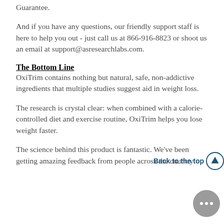Guarantee.
And if you have any questions, our friendly support staff is here to help you out - just call us at 866-916-8823 or shoot us an email at support@asresearchlabs.com.
The Bottom Line
OxiTrim contains nothing but natural, safe, non-addictive ingredients that multiple studies suggest aid in weight loss.
The research is crystal clear: when combined with a calorie-controlled diet and exercise routine, OxiTrim helps you lose weight faster.
The science behind this product is fantastic. We've been getting amazing feedback from people across the country